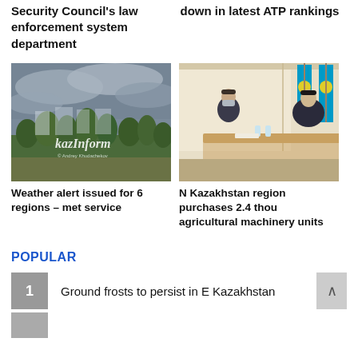Security Council's law enforcement system department
down in latest ATP rankings
[Figure (photo): Outdoor photo of trees and apartment buildings under cloudy sky with Kazinform watermark]
[Figure (photo): Two men in suits sitting at an ornate table, Kazakhstan flags in background]
Weather alert issued for 6 regions – met service
N Kazakhstan region purchases 2.4 thou agricultural machinery units
POPULAR
Ground frosts to persist in E Kazakhstan